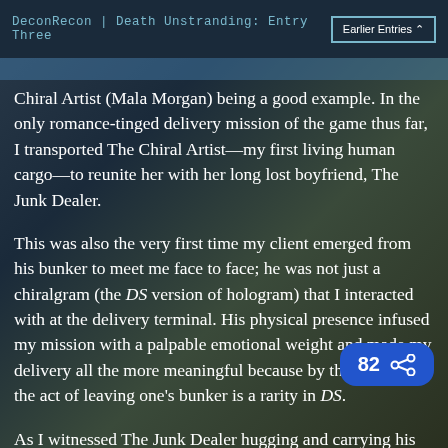DeconRecon | Death Unstranding: Entry Three
Chiral Artist (Mala Morgan) being a good example. In the only romance-tinged delivery mission of the game thus far, I transported The Chiral Artist—my first living human cargo—to reunite her with her long lost boyfriend, The Junk Dealer.
This was also the very first time my client emerged from his bunker to meet me face to face; he was not just a chiralgram (the DS version of hologram) that I interacted with at the delivery terminal. His physical presence infused my mission with a palpable emotional weight and made my delivery all the more meaningful because by then, I knew the act of leaving one's bunker is a rarity in DS.
As I witnessed The Junk Dealer hugging and carrying his lady